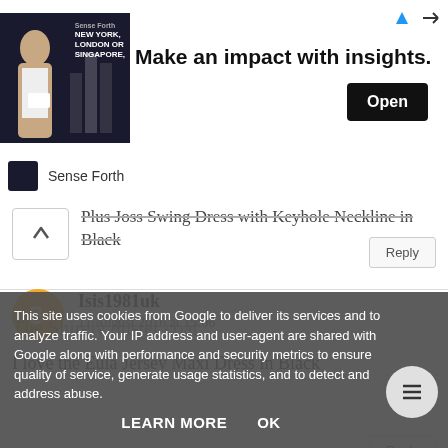[Figure (screenshot): Advertisement banner: image of a businessman with text 'NEW YORK, LONDON OR SINGAPORE', headline 'Make an impact with insights.' and an 'Open' button. 'Sense Forth' logo bar below.]
Plus Joss Swing Dress with Keyhole Neckline in Black
Reply
Isis1981uk
11 August 2016 at 15:06
I love the Eula Jersey Maxi Dress in Black
Reply
This site uses cookies from Google to deliver its services and to analyze traffic. Your IP address and user-agent are shared with Google along with performance and security metrics to ensure quality of service, generate usage statistics, and to detect and address abuse.
LEARN MORE
OK
The Shirely duster coat